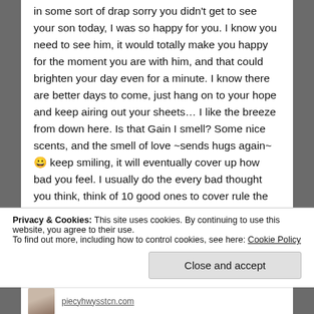in some sort of drap sorry you didn't get to see your son today, I was so happy for you. I know you need to see him, it would totally make you happy for the moment you are with him, and that could brighten your day even for a minute. I know there are better days to come, just hang on to your hope and keep airing out your sheets… I like the breeze from down here. Is that Gain I smell? Some nice scents, and the smell of love ~sends hugs again~ 😀 keep smiling, it will eventually cover up how bad you feel. I usually do the every bad thought you think, think of 10 good ones to cover rule the bad! Great days are coming… just hang in there.
Privacy & Cookies: This site uses cookies. By continuing to use this website, you agree to their use. To find out more, including how to control cookies, see here: Cookie Policy
Close and accept